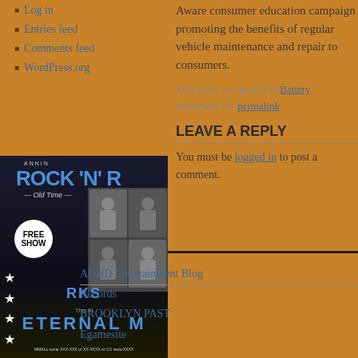Log in
Entries feed
Comments feed
WordPress.org
[Figure (photo): Concert/event poster showing ROCK 'N' with stars, FREE SHOW badge, and ETERNAL text at bottom on dark background]
Aware consumer education campaign promoting the benefits of regular vehicle maintenance and repair to consumers.
This entry was posted in Battery. Bookmark the permalink.
LEAVE A REPLY
You must be logged in to post a comment.
ADHD Entertainment Blog
Records
BROOKLYN PAST
Egamesite